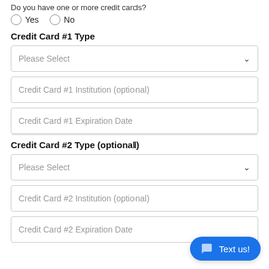Do you have one or more credit cards?
Yes   No
Credit Card #1 Type
Please Select
Credit Card #1 Institution (optional)
Credit Card #1 Expiration Date
Credit Card #2 Type (optional)
Please Select
Credit Card #2 Institution (optional)
Credit Card #2 Expiration Date